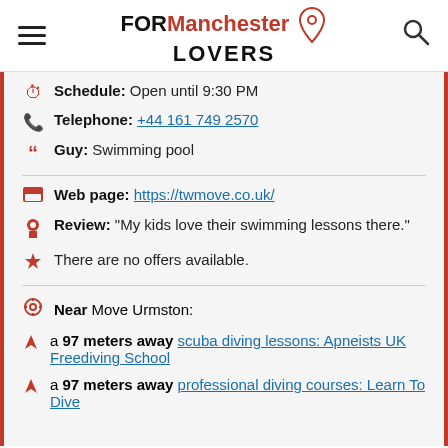FOR Manchester LOVERS
Schedule: Open until 9:30 PM
Telephone: +44 161 749 2570
Guy: Swimming pool
Web page: https://twmove.co.uk/
Review: "My kids love their swimming lessons there."
There are no offers available.
Near Move Urmston:
a 97 meters away scuba diving lessons: Apneists UK Freediving School
a 97 meters away professional diving courses: Learn To Dive